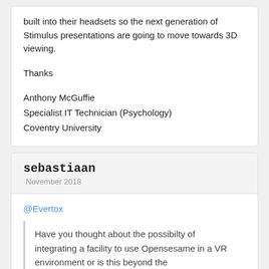built into their headsets so the next generation of Stimulus presentations are going to move towards 3D viewing.

Thanks

Anthony McGuffie
Specialist IT Technician (Psychology)
Coventry University
sebastiaan
November 2018
@Evertox

Have you thought about the possibilty of integrating a facility to use Opensesame in a VR environment or is this beyond the